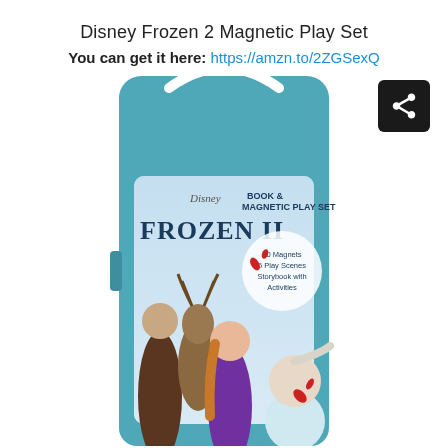Disney Frozen 2 Magnetic Play Set
You can get it here: https://amzn.to/2ZGSexQ
[Figure (photo): Disney Frozen II Book & Magnetic Play Set product photo showing a teal carrying case with handle. The case lid features characters Kristoff, Sven, Anna, and Elsa along with the Disney Frozen II logo and text: BOOK & MAGNETIC PLAY SET, 30 Magnets, 6 Play Scenes, Storybook with Activities.]